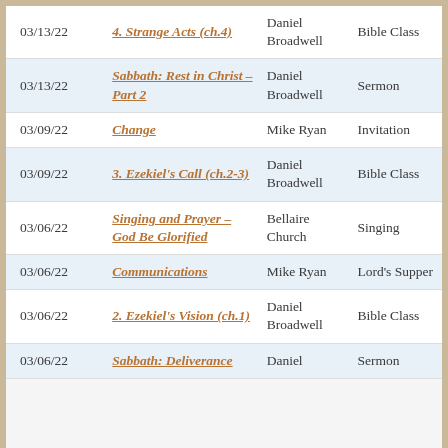| Date | Title | Speaker | Type |
| --- | --- | --- | --- |
| 03/13/22 | 4. Strange Acts (ch.4) | Daniel Broadwell | Bible Class |
| 03/13/22 | Sabbath: Rest in Christ – Part 2 | Daniel Broadwell | Sermon |
| 03/09/22 | Change | Mike Ryan | Invitation |
| 03/09/22 | 3. Ezekiel's Call (ch.2-3) | Daniel Broadwell | Bible Class |
| 03/06/22 | Singing and Prayer – God Be Glorified | Bellaire Church | Singing |
| 03/06/22 | Communications | Mike Ryan | Lord's Supper |
| 03/06/22 | 2. Ezekiel's Vision (ch.1) | Daniel Broadwell | Bible Class |
| 03/06/22 | Sabbath: Deliverance | Daniel | Sermon |